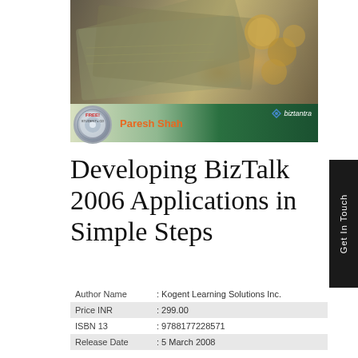[Figure (photo): Book cover of 'Developing BizTalk 2006 Applications in Simple Steps' by Paresh Shah, published by Biztantra. Shows money/currency photo on top and green band with author name and CD badge below.]
Developing BizTalk 2006 Applications in Simple Steps
| Author Name | : Kogent Learning Solutions Inc. |
| Price INR | : 299.00 |
| ISBN 13 | : 9788177228571 |
| Release Date | : 5 March 2008 |